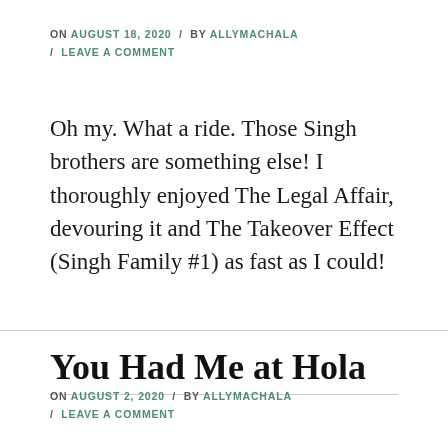ON AUGUST 18, 2020 / BY ALLYMACHALA / LEAVE A COMMENT
Oh my. What a ride. Those Singh brothers are something else! I thoroughly enjoyed The Legal Affair, devouring it and The Takeover Effect (Singh Family #1) as fast as I could!
You Had Me at Hola
ON AUGUST 2, 2020 / BY ALLYMACHALA / LEAVE A COMMENT